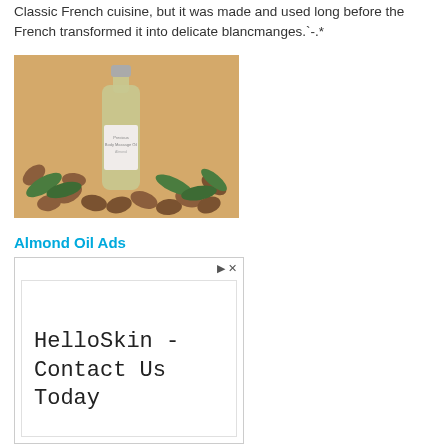Classic French cuisine, but it was made and used long before the French transformed it into delicate blancmanges.`-.*
[Figure (photo): A bottle of almond massage oil surrounded by almonds and green leaves on a tan/orange background]
Almond Oil Ads
[Figure (screenshot): Advertisement box with play and close icons, inner white box, and text reading 'HelloSkin - Contact Us Today']